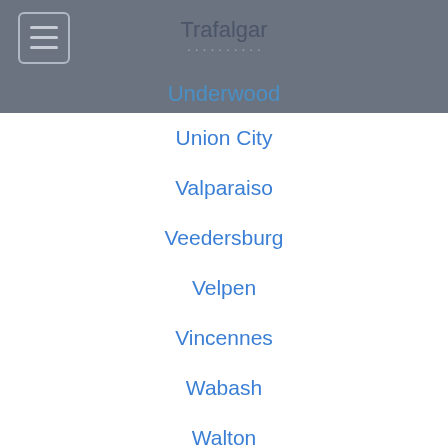Trafalgar
Underwood
Union City
Valparaiso
Veedersburg
Velpen
Vincennes
Wabash
Walton
Waterloo